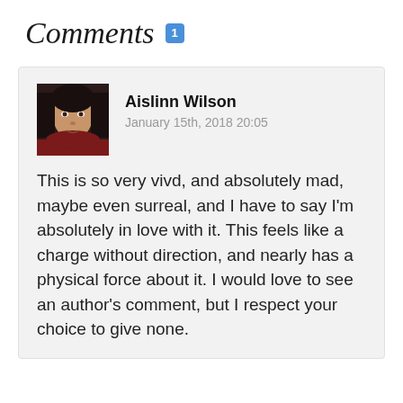Comments 1
Aislinn Wilson
January 15th, 2018 20:05
This is so very vivd, and absolutely mad, maybe even surreal, and I have to say I'm absolutely in love with it. This feels like a charge without direction, and nearly has a physical force about it. I would love to see an author's comment, but I respect your choice to give none.
[Figure (photo): Avatar photo of Aislinn Wilson, a person with dark hair wearing a dark red top]